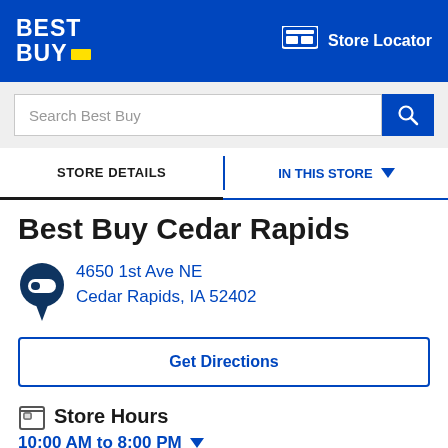[Figure (logo): Best Buy logo in white on blue background, with yellow price tag icon]
Store Locator
Search Best Buy
STORE DETAILS
IN THIS STORE
Best Buy Cedar Rapids
4650 1st Ave NE
Cedar Rapids, IA 52402
Get Directions
Store Hours
10:00 AM to 8:00 PM